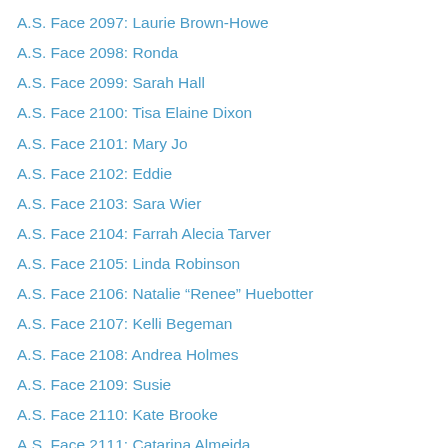A.S. Face 2097: Laurie Brown-Howe
A.S. Face 2098: Ronda
A.S. Face 2099: Sarah Hall
A.S. Face 2100: Tisa Elaine Dixon
A.S. Face 2101: Mary Jo
A.S. Face 2102: Eddie
A.S. Face 2103: Sara Wier
A.S. Face 2104: Farrah Alecia Tarver
A.S. Face 2105: Linda Robinson
A.S. Face 2106: Natalie “Renee” Huebotter
A.S. Face 2107: Kelli Begeman
A.S. Face 2108: Andrea Holmes
A.S. Face 2109: Susie
A.S. Face 2110: Kate Brooke
A.S. Face 2111: Catarina Almeida
A.S. Face 2112: Ashley Thompson
A.S. Face 2113: Lexi Dennis
A.S. Face 2114: Samantha
A.S. Face 2115: Angela Hodges
A.S. Face 2116: Darwin R. Drake SR